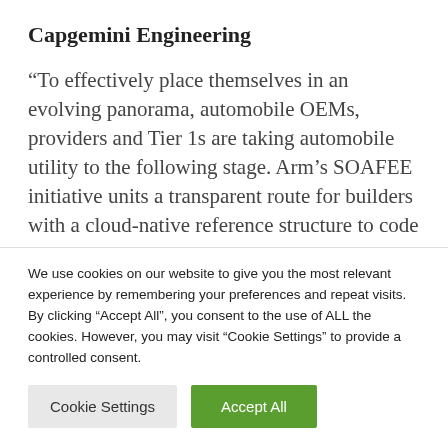Capgemini Engineering
“To effectively place themselves in an evolving panorama, automobile OEMs, providers and Tier 1s are taking automobile utility to the following stage. Arm’s SOAFEE initiative units a transparent route for builders with a cloud-native reference structure to code leisure and using options,
We use cookies on our website to give you the most relevant experience by remembering your preferences and repeat visits. By clicking “Accept All”, you consent to the use of ALL the cookies. However, you may visit “Cookie Settings” to provide a controlled consent.